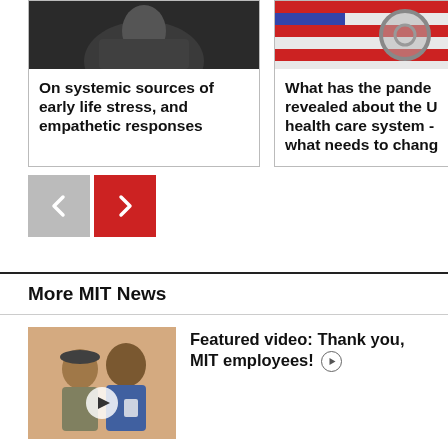[Figure (photo): Screenshot of a person on a video call, dark background]
On systemic sources of early life stress, and empathetic responses
[Figure (photo): Close-up of a stethoscope over an American flag]
What has the pandemic revealed about the US health care system - and what needs to change
[Figure (other): Navigation buttons: grey left arrow and red right arrow]
More MIT News
[Figure (photo): Two men smiling outdoors, one wearing a cap and gloves, other in a blue shirt with a badge; video play button overlay]
Featured video: Thank you, MIT employees!